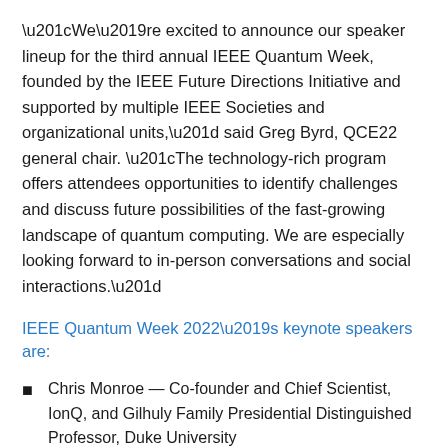“We’re excited to announce our speaker lineup for the third annual IEEE Quantum Week, founded by the IEEE Future Directions Initiative and supported by multiple IEEE Societies and organizational units,” said Greg Byrd, QCE22 general chair. “The technology-rich program offers attendees opportunities to identify challenges and discuss future possibilities of the fast-growing landscape of quantum computing. We are especially looking forward to in-person conversations and social interactions.”
IEEE Quantum Week 2022’s keynote speakers are:
Chris Monroe — Co-founder and Chief Scientist, IonQ, and Gilhuly Family Presidential Distinguished Professor, Duke University
Stephanie Wehner — Antoni van Leeuwenhoek Professor in Quantum Information, TU Delft